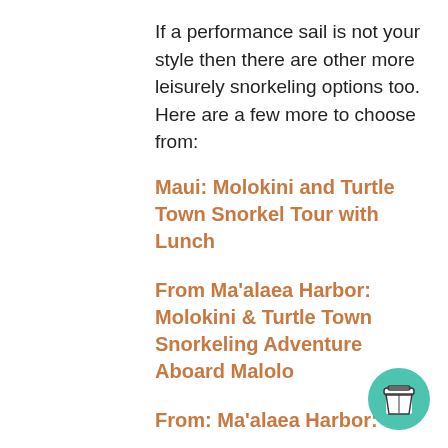If a performance sail is not your style then there are other more leisurely snorkeling options too. Here are a few more to choose from:
Maui: Molokini and Turtle Town Snorkel Tour with Lunch
From Ma'alaea Harbor: Molokini & Turtle Town Snorkeling Adventure Aboard Malolo
From: Ma'alaea Harbor:
[Figure (illustration): Teal/green circular button with a coffee cup icon (to-go cup with lid), positioned in the bottom-right corner of the page.]